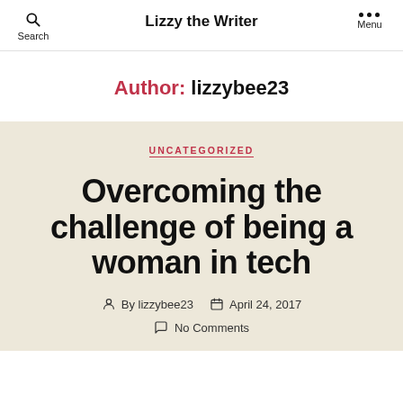Lizzy the Writer
Author: lizzybee23
UNCATEGORIZED
Overcoming the challenge of being a woman in tech
By lizzybee23   April 24, 2017   No Comments